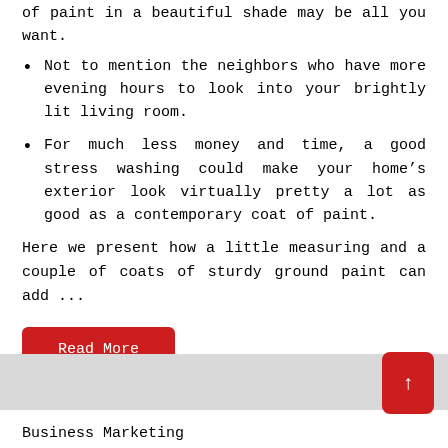of paint in a beautiful shade may be all you want.
Not to mention the neighbors who have more evening hours to look into your brightly lit living room.
For much less money and time, a good stress washing could make your home's exterior look virtually pretty a lot as good as a contemporary coat of paint.
Here we present how a little measuring and a couple of coats of sturdy ground paint can add ...
Read More
Business Marketing